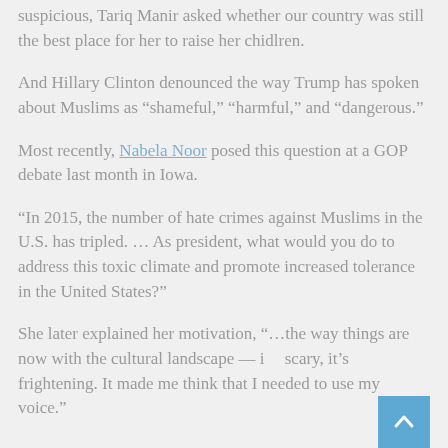suspicious, Tariq Manir asked whether our country was still the best place for her to raise her children.
And Hillary Clinton denounced the way Trump has spoken about Muslims as “shameful,” “harmful,” and “dangerous.”
Most recently, Nabela Noor posed this question at a GOP debate last month in Iowa.
“In 2015, the number of hate crimes against Muslims in the U.S. has tripled. … As president, what would you do to address this toxic climate and promote increased tolerance in the United States?”
She later explained her motivation, “…the way things are now with the cultural landscape — it’s scary, it’s frightening. It made me think that I needed to use my voice.”